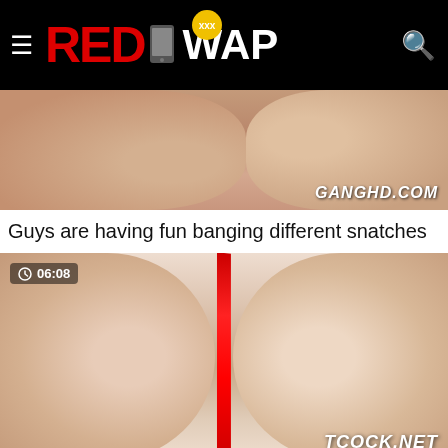RED WAP (xxx logo)
[Figure (screenshot): Video thumbnail with watermark GANGHD.COM]
Guys are having fun banging different snatches
[Figure (screenshot): Video thumbnail with duration 06:08 and watermark TCOCK.NET]